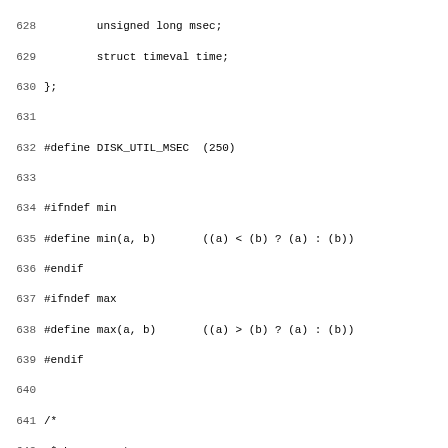Source code listing, lines 628-659, showing C header file definitions for disk utility macros, min/max macros, and extern function declarations for iolog, logging, and disk utility functions.